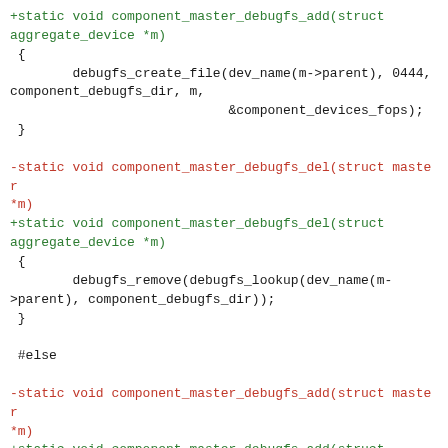+static void component_master_debugfs_add(struct aggregate_device *m)
 {
         debugfs_create_file(dev_name(m->parent), 0444,
component_debugfs_dir, m,
                             &component_devices_fops);
 }

-static void component_master_debugfs_del(struct master *m)
+static void component_master_debugfs_del(struct aggregate_device *m)
 {
         debugfs_remove(debugfs_lookup(dev_name(m->parent), component_debugfs_dir));
 }

 #else

-static void component_master_debugfs_add(struct master *m)
+static void component_master_debugfs_add(struct aggregate_device *m)
 { }

-static void component_master_debugfs_del(struct master *m)
+static void component_master_debugfs_del(struct aggregate_device *m)
 { }